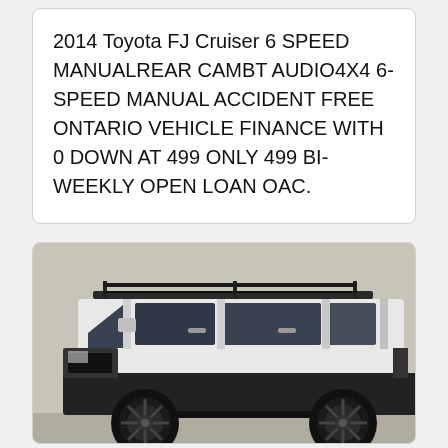2014 Toyota FJ Cruiser 6 SPEED MANUALREAR CAMBT AUDIO4X4 6-SPEED MANUAL ACCIDENT FREE ONTARIO VEHICLE FINANCE WITH 0 DOWN AT 499 ONLY 499 BI-WEEKLY OPEN LOAN OAC.
[Figure (photo): Side view of a white Toyota FJ Cruiser with black wheels, black lower body trim, and a roof rack, parked in front of a building.]